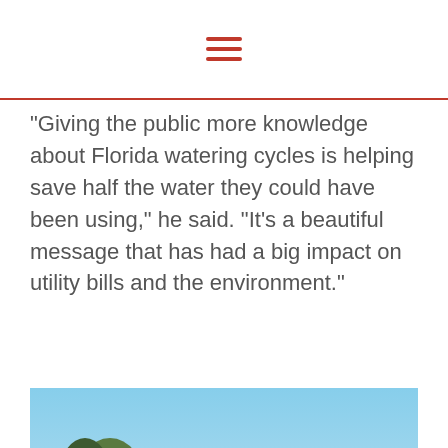“Giving the public more knowledge about Florida watering cycles is helping save half the water they could have been using,” he said. “It’s a beautiful message that has had a big impact on utility bills and the environment.”
[Figure (photo): A man in a black jacket and jeans walking along a sandy path through dry scrubland vegetation under a blue sky.]
Carraway also endorses Florida-friendly landscaping and Florida-friendly fertilization as a way that families can make a positive